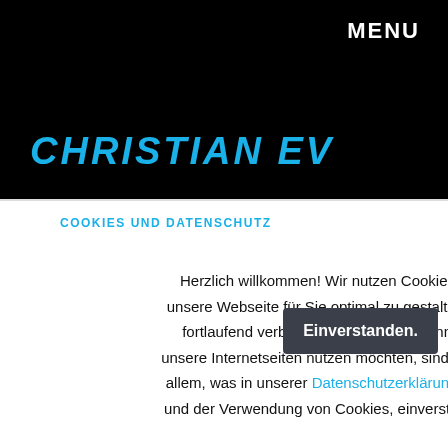MENU
[Figure (logo): Cyan italic bold logo text partially visible reading 'CHRISTIAN EV' on black background]
COOKIES UND DATENSCHUTZ
Herzlich willkommen! Wir nutzen Cookies um unsere Webseite für Sie optimal zu gestalten und fortlaufend verbessern zu können. Wenn Sie unsere Internetseiten nutzen möchten, sind Sie mit allem, was in unserer Datenschutzerklärung steht und der Verwendung von Cookies, einverstanden.
Einverstanden.